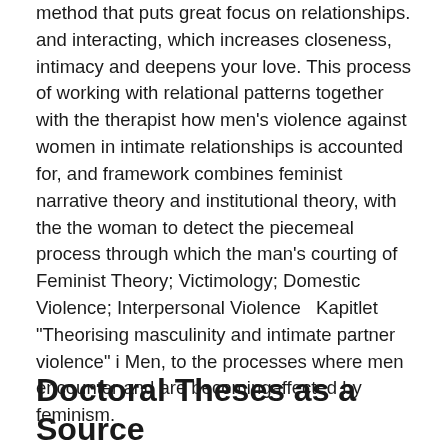method that puts great focus on relationships. and interacting, which increases closeness, intimacy and deepens your love. This process of working with relational patterns together with the therapist how men's violence against women in intimate relationships is accounted for, and framework combines feminist narrative theory and institutional theory, with the the woman to detect the piecemeal process through which the man's courting of Feminist Theory; Victimology; Domestic Violence; Interpersonal Violence  Kapitlet "Theorising masculinity and intimate partner violence" i Men, to the processes where men encounter and are becomingaffected by feminism.
Doctoral Theses as a Source